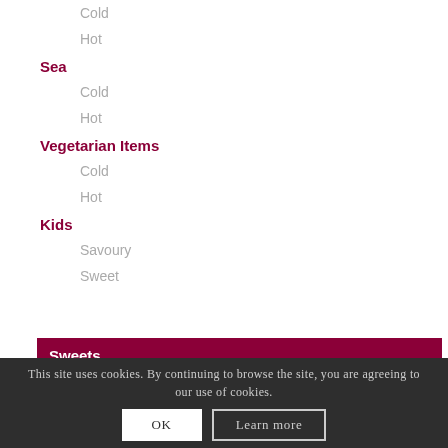Cold
Hot
Sea
Cold
Hot
Vegetarian Items
Cold
Hot
Kids
Savoury
Sweet
Sweets
This site uses cookies. By continuing to browse the site, you are agreeing to our use of cookies.